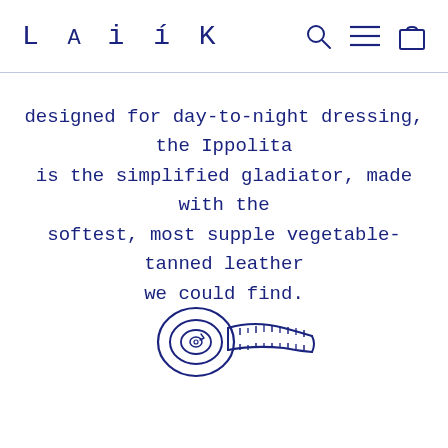LAIK
designed for day-to-night dressing, the Ippolita is the simplified gladiator, made with the softest, most supple vegetable-tanned leather we could find.
[Figure (illustration): Line drawing illustration of a rolled measuring tape in navy blue]